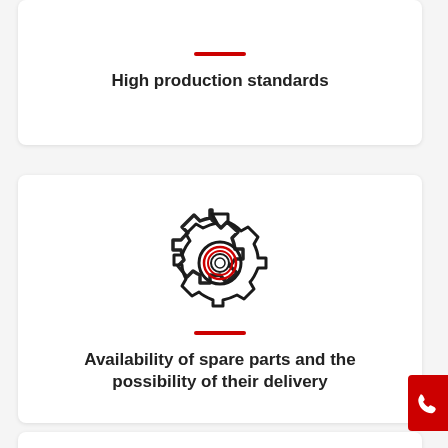High production standards
[Figure (illustration): Gear/cog icon with a red circle highlight in the center, representing mechanical parts or manufacturing]
Availability of spare parts and the possibility of their delivery
[Figure (illustration): Partial view of a third card at the bottom with a roof/house-like icon emerging from the bottom edge]